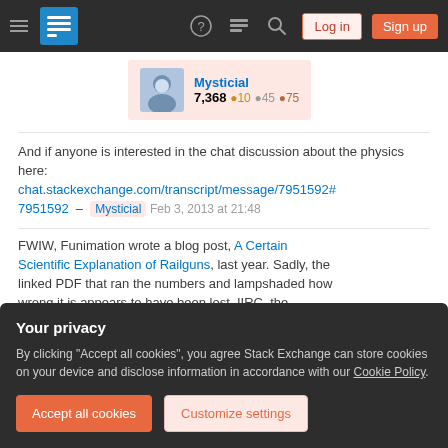Stack Exchange navigation bar with hamburger menu, logo, help, chat, search icons, Log in and Sign up buttons
[Figure (screenshot): User card for Mysticial showing avatar, reputation 7,368, 10 gold badges, 45 silver badges, 75 bronze badges]
And if anyone is interested in the chat discussion about the physics here: chat.stackexchange.com/transcript/message/7951592#7951592 – Mysticial Feb 3, 2013 at 21:48
FWIW, Funimation wrote a blog post, A Certain Scientific Explanation of Railguns, last year. Sadly, the linked PDF that ran the numbers and lampshaded how wrong it is appears to have been lost. IIRC, the
Your privacy
By clicking "Accept all cookies", you agree Stack Exchange can store cookies on your device and disclose information in accordance with our Cookie Policy.
Accept all cookies   Customize settings
the authors have said anything. – Mysticial Mar 30,